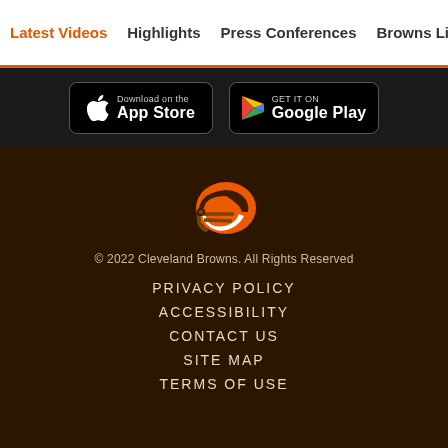Latest Videos  Highlights  Press Conferences  Browns Live  Me
[Figure (screenshot): App Store and Google Play download badges on dark background]
[Figure (logo): Cleveland Browns football helmet logo - orange helmet with brown facemask]
© 2022 Cleveland Browns. All Rights Reserved
PRIVACY POLICY
ACCESSIBILITY
CONTACT US
SITE MAP
TERMS OF USE